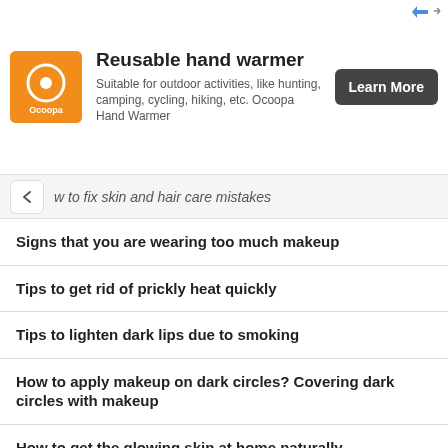[Figure (other): Advertisement banner for Ocoopa Reusable hand warmer with orange logo, product description, and Learn More button]
w to fix skin and hair care mistakes
Signs that you are wearing too much makeup
Tips to get rid of prickly heat quickly
Tips to lighten dark lips due to smoking
How to apply makeup on dark circles? Covering dark circles with makeup
How to get the glowing skin at home naturally
How to remove blackheads with toothpaste?
Top 10 homemade face masks during pregnancy